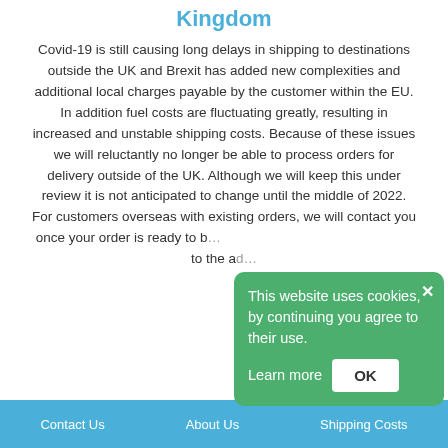Kingdom
Covid-19 is still causing long delays in shipping to destinations outside the UK and Brexit has added new complexities and additional local charges payable by the customer within the EU. In addition fuel costs are fluctuating greatly, resulting in increased and unstable shipping costs. Because of these issues we will reluctantly no longer be able to process orders for delivery outside of the UK. Although we will keep this under review it is not anticipated to change until the middle of 2022. For customers overseas with existing orders, we will contact you once your order is ready to b… to the ad…
This website uses cookies, by continuing you agree to their use. Learn more OK
Contact Us   About Us   Shipping Costs